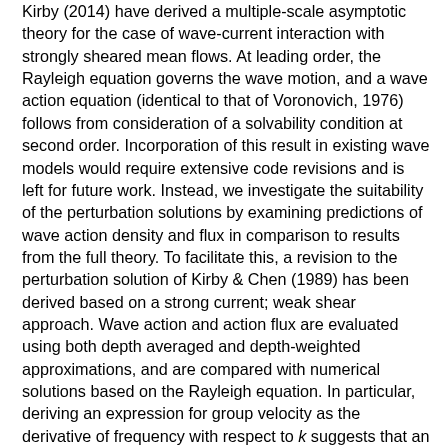Kirby (2014) have derived a multiple-scale asymptotic theory for the case of wave-current interaction with strongly sheared mean flows. At leading order, the Rayleigh equation governs the wave motion, and a wave action equation (identical to that of Voronovich, 1976) follows from consideration of a solvability condition at second order. Incorporation of this result in existing wave models would require extensive code revisions and is left for future work. Instead, we investigate the suitability of the perturbation solutions by examining predictions of wave action density and flux in comparison to results from the full theory. To facilitate this, a revision to the perturbation solution of Kirby & Chen (1989) has been derived based on a strong current; weak shear approach. Wave action and action flux are evaluated using both depth averaged and depth-weighted approximations, and are compared with numerical solutions based on the Rayleigh equation. In particular, deriving an expression for group velocity as the derivative of frequency with respect to k suggests that an additional term k∂u/∂k should appear. This term has not been accounted for in existing extensions to the depth-uniform current equations. To illustrate the importance of this effect in the absolute group velocity, a comparison of group velocity with and without the additional term is made. The results show that